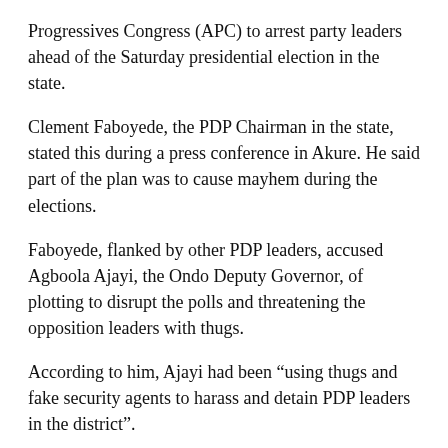Progressives Congress (APC) to arrest party leaders ahead of the Saturday presidential election in the state.
Clement Faboyede, the PDP Chairman in the state, stated this during a press conference in Akure. He said part of the plan was to cause mayhem during the elections.
Faboyede, flanked by other PDP leaders, accused Agboola Ajayi, the Ondo Deputy Governor, of plotting to disrupt the polls and threatening the opposition leaders with thugs.
According to him, Ajayi had been “using thugs and fake security agents to harass and detain PDP leaders in the district”.